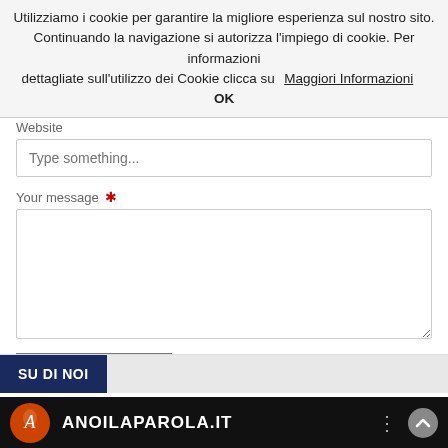Utilizziamo i cookie per garantire la migliore esperienza sul nostro sito. Continuando la navigazione si autorizza l'impiego di cookie. Per informazioni dettagliate sull'utilizzo dei Cookie clicca su   Maggiori Informazioni    OK
Website
Type something...
Your message *
Submit Comment
SU DI NOI
ANOILAPAROLA.IT